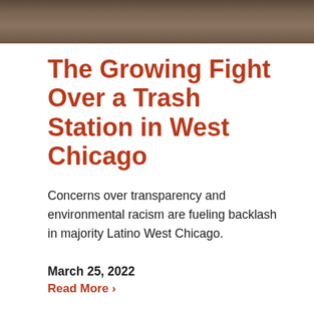[Figure (photo): Dark brown wooden or metal surface texture, horizontal photo strip at top of page]
The Growing Fight Over a Trash Station in West Chicago
Concerns over transparency and environmental racism are fueling backlash in majority Latino West Chicago.
March 25, 2022
Read More ›